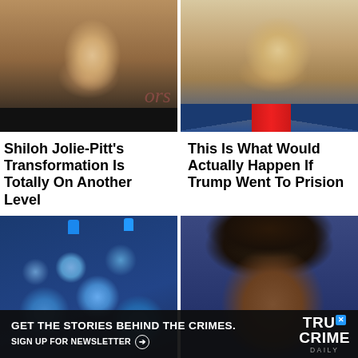[Figure (photo): Young woman with brown upswept hair and natural makeup against a light background with partial text 'ors' visible]
[Figure (photo): Older man with blonde hair wearing a dark suit with red tie, close-up face portrait]
Shiloh Jolie-Pitt's Transformation Is Totally On Another Level
This Is What Would Actually Happen If Trump Went To Prision
[Figure (photo): Multiple large blue water cooler jugs stacked together]
[Figure (photo): Woman with short natural hair and bold eye makeup in front of blue background]
GET THE STORIES BEHIND THE CRIMES. SIGN UP FOR NEWSLETTER
TRUE CRIME DAILY